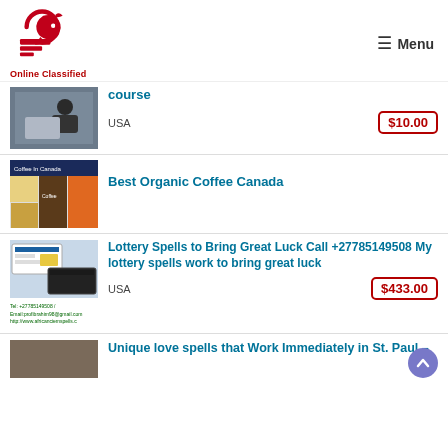[Figure (logo): Online Classified website logo with red horse/arrow graphic and text 'Online Classified']
≡ Menu
course
USA
$10.00
[Figure (photo): Coffee in Canada promotional image with coffee products]
Best Organic Coffee Canada
[Figure (photo): Lottery spells advertisement with lottery tickets and contact info]
Lottery Spells to Bring Great Luck Call +27785149508 My lottery spells work to bring great luck
USA
$433.00
Unique love spells that Work Immediately in St. Paul –